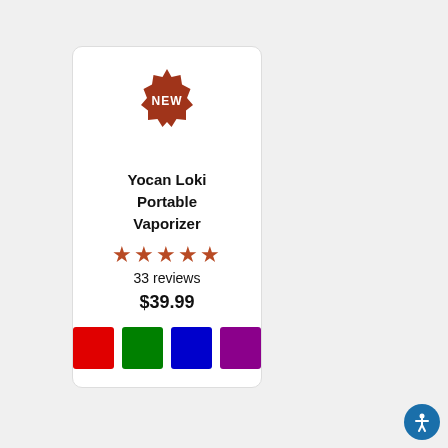[Figure (other): Product card for Yocan Loki Portable Vaporizer with NEW badge, 5 stars, 33 reviews, $39.99 price, and 4 color swatches (red, green, blue, purple)]
Yocan Loki Portable Vaporizer
33 reviews
$39.99